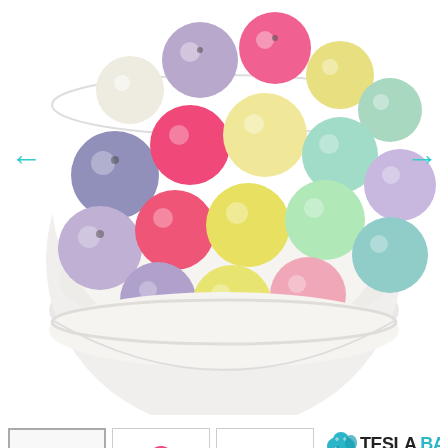[Figure (photo): Large product photo: colorful pastel bubblegum acrylic beads (pink, purple, yellow, green, mint, lavender, cream) in a white ceramic bowl, on white background. Navigation arrows on left and right.]
[Figure (photo): Thumbnail 1 (selected): colorful bubblegum beads scattered on surface]
[Figure (photo): Thumbnail 2: colorful bubblegum beads in white bowl, top-down view]
[Figure (photo): Thumbnail 3: small line of pastel bubblegum beads on white surface]
[Figure (logo): Tesla Baby brand logo with teal dinosaur/elephant graphic, social media icons (Facebook, Twitter, Instagram, Pinterest), and website/discount card info]
Bubblegum Acrylic Beads - 20 mm - Unicorn Mix - Bulk Beads - Wholesale Beads - Bubble Gumball Beads 20mm - Child